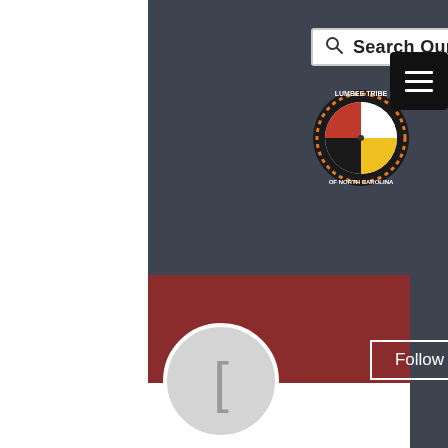[Figure (screenshot): Screenshot of a website interface showing a Lumbee Tribe of North Carolina website header with search bar, logo, and hamburger menu, overlaid with a social media profile page showing a user profile with username [[NHL^LIVE@STREAM]] St. ..., 0 Followers, 0 Following, Follow button, and a red banner.]
Search Our Site
[[NHL^LIVE@STREAM]] St. ...
0 Followers • 0 Following